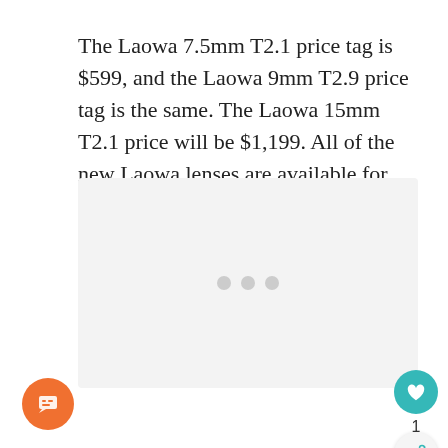The Laowa 7.5mm T2.1 price tag is $599, and the Laowa 9mm T2.9 price tag is the same. The Laowa 15mm T2.1 price will be $1,199. All of the new Laowa lenses are available for purchase now.
[Figure (other): Gray placeholder image area with three gray dots indicating loading content]